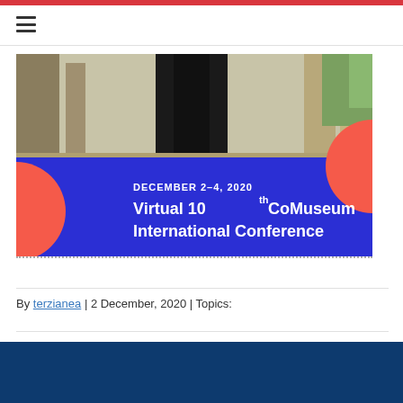[Figure (photo): Conference banner image showing a person standing between classical columns in outdoor setting (top half), and a blue banner overlay (bottom half) with coral/red decorative circles, text reading 'DECEMBER 2–4, 2020' and 'Virtual 10th CoMuseum International Conference']
By terzianea | 2 December, 2020 | Topics: